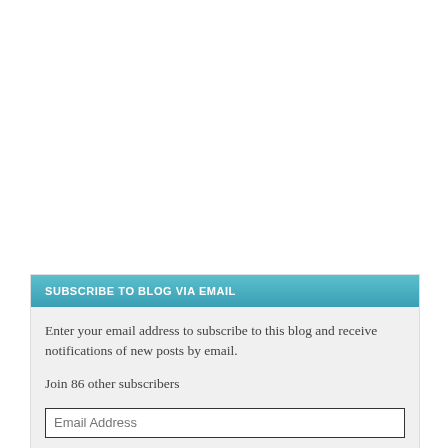SUBSCRIBE TO BLOG VIA EMAIL
Enter your email address to subscribe to this blog and receive notifications of new posts by email.
Join 86 other subscribers